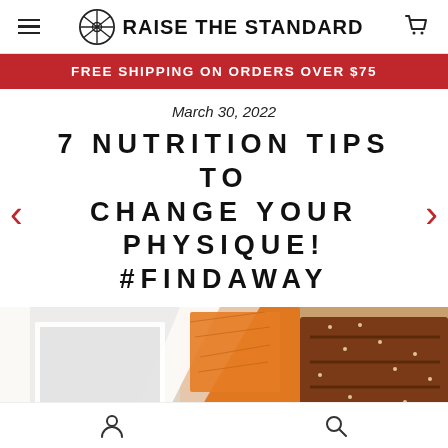RAISE THE STANDARD
FREE SHIPPING ON ORDERS OVER $75
March 30, 2022
7 NUTRITION TIPS TO CHANGE YOUR PHYSIQUE! #FINDAWAY
[Figure (photo): Food photo showing sliced meat with sesame seeds on a bed of shredded carrots and greens, with a diagonal white-framed collage effect on the left side.]
User icon and Search icon navigation bar